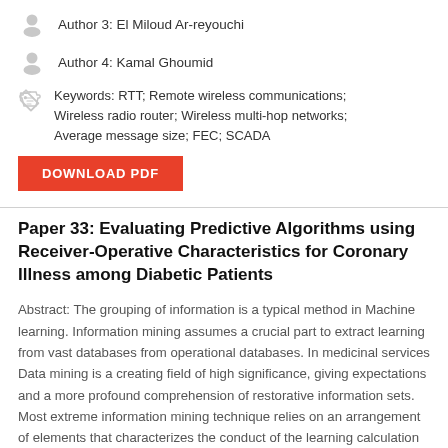Author 3: El Miloud Ar-reyouchi
Author 4: Kamal Ghoumid
Keywords: RTT; Remote wireless communications; Wireless radio router; Wireless multi-hop networks; Average message size; FEC; SCADA
Paper 33: Evaluating Predictive Algorithms using Receiver-Operative Characteristics for Coronary Illness among Diabetic Patients
Abstract: The grouping of information is a typical method in Machine learning. Information mining assumes a crucial part to extract learning from vast databases from operational databases. In medicinal services Data mining is a creating field of high significance, giving expectations and a more profound comprehension of restorative information sets. Most extreme information mining technique relies on an arrangement of elements that characterizes the conduct of the learning calculation furthermore straightforwardly or by implication impact of the...